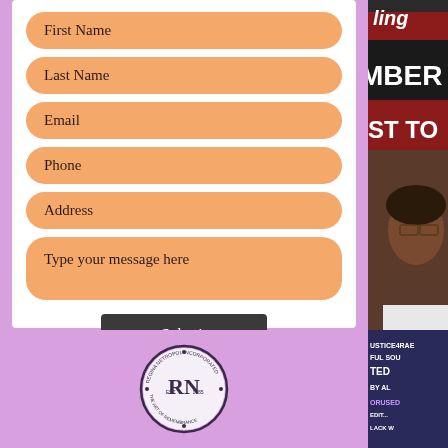First Name
Last Name
Email
Phone
Address
Type your message here
Submit
[Figure (logo): Regina Netropol Incorporated RN circular logo with decorative border and text 'The Art of Remembrance']
[Figure (photo): Right side photo of a person at what appears to be a protest or event, with signage visible in the background including text mentioning JUSTICE4RAE, FUL SOUL, TED, BY ALL, BLACK W]